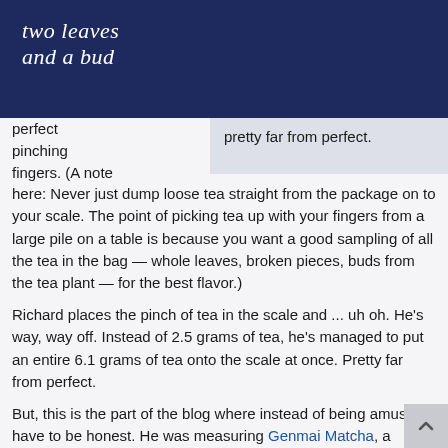two leaves and a bud
perfect pinching fingers. (A note here: Never just dump loose tea straight from the package on to your scale. The point of picking tea up with your fingers from a large pile on a table is because you want a good sampling of all the tea in the bag — whole leaves, broken pieces, buds from the tea plant — for the best flavor.)
pretty far from perfect.
Richard places the pinch of tea in the scale and ... uh oh. He's way, way off. Instead of 2.5 grams of tea, he's managed to put an entire 6.1 grams of tea onto the scale at once. Pretty far from perfect.
But, this is the part of the blog where instead of being amused, I have to be honest. He was measuring Genmai Matcha, a unique loose tea we sell from Japan known as "brown rice tea" because it has puffs of roasted brown